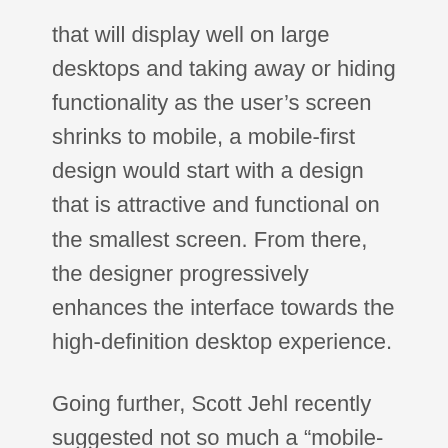that will display well on large desktops and taking away or hiding functionality as the user's screen shrinks to mobile, a mobile-first design would start with a design that is attractive and functional on the smallest screen. From there, the designer progressively enhances the interface towards the high-definition desktop experience.
Going further, Scott Jehl recently suggested not so much a “mobile-first” strategy but rather a “global-first” strategy. Design a set of styles that are must haves across all screens and then enhance depending on a browser’s capability, dependent on what Scott terms a “cut the mustard” set of tests.